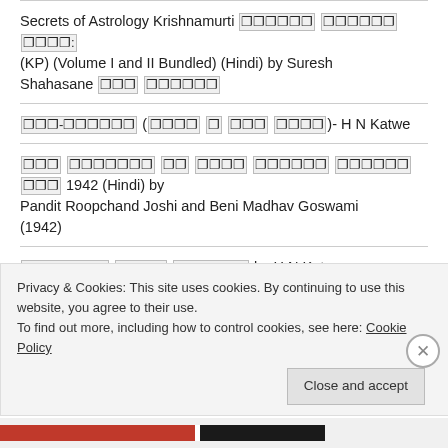Secrets of Astrology Krishnamurti [rendered as boxes] (KP) (Volume I and II Bundled) (Hindi) by Suresh Shahasane [rendered as boxes]
[rendered as boxes] - H N Katwe
[rendered as boxes] 1942 (Hindi) by Pandit Roopchand Joshi and Beni Madhav Goswami (1942)
[rendered as boxes] by H N Katwe
Brihat Parashara Hora Shastra [rendered as boxes]
Privacy & Cookies: This site uses cookies. By continuing to use this website, you agree to their use.
To find out more, including how to control cookies, see here: Cookie Policy
Close and accept